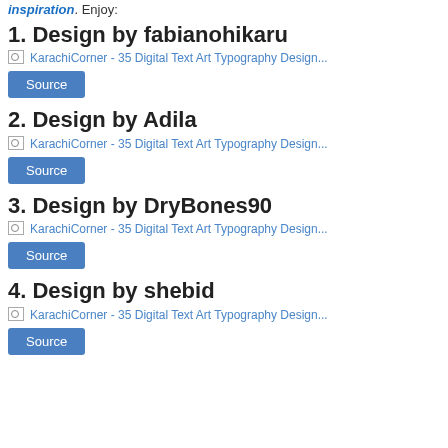inspiration. Enjoy:
1. Design by fabianohikaru
[Figure (other): KarachiCorner - 35 Digital Text Art Typography Design image placeholder]
Source
2. Design by Adila
[Figure (other): KarachiCorner - 35 Digital Text Art Typography Design image placeholder]
Source
3. Design by DryBones90
[Figure (other): KarachiCorner - 35 Digital Text Art Typography Design image placeholder]
Source
4. Design by shebid
[Figure (other): KarachiCorner - 35 Digital Text Art Typography Design image placeholder]
Source